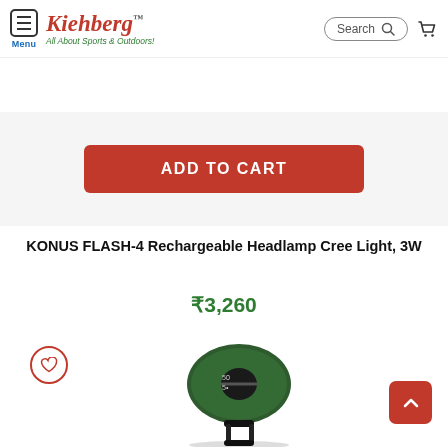[Figure (logo): Kiehberg logo with tagline 'All About Sports & Outdoors!']
Menu | Search | Cart
[Figure (other): ADD TO CART button in red on grey band]
KONUS FLASH-4 Rechargeable Headlamp Cree Light, 3W
₹3,260
[Figure (photo): Photo of a green round headlamp with black dial and bracket]